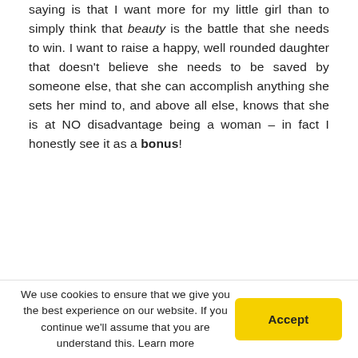saying is that I want more for my little girl than to simply think that beauty is the battle that she needs to win. I want to raise a happy, well rounded daughter that doesn't believe she needs to be saved by someone else, that she can accomplish anything she sets her mind to, and above all else, knows that she is at NO disadvantage being a woman – in fact I honestly see it as a bonus!
Hoping to update this blog at least once a week, so I
We use cookies to ensure that we give you the best experience on our website. If you continue we'll assume that you are understand this. Learn more